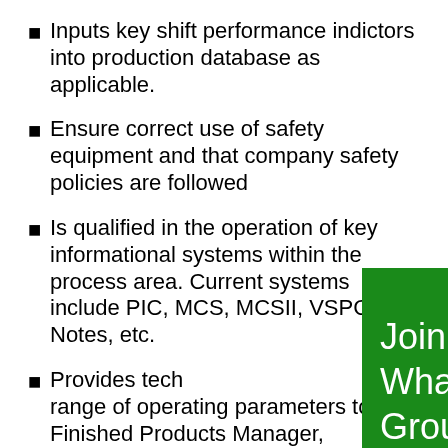Inputs key shift performance indictors into production database as applicable.
Ensure correct use of safety equipment and that company safety policies are followed
Is qualified in the operation of key informational systems within the process area. Current systems include PIC, MCS, MCSII, VSPC, [overlay] Notes, etc.
Provides tech[nical information across the full] range of operating parameters to the Finished Products Manager, Maintenance and Machine Repair Supervisors, Quality